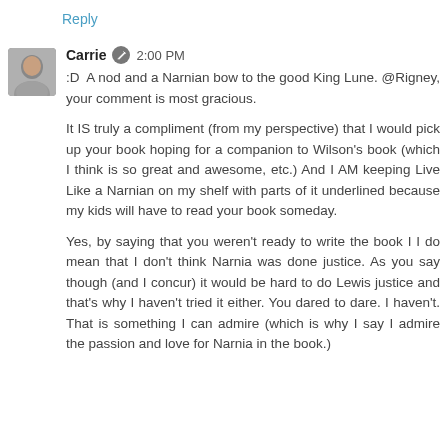Reply
Carrie  2:00 PM
:D A nod and a Narnian bow to the good King Lune. @Rigney, your comment is most gracious.

It IS truly a compliment (from my perspective) that I would pick up your book hoping for a companion to Wilson's book (which I think is so great and awesome, etc.) And I AM keeping Live Like a Narnian on my shelf with parts of it underlined because my kids will have to read your book someday.

Yes, by saying that you weren't ready to write the book I do mean that I don't think Narnia was done justice. As you say though (and I concur) it would be hard to do Lewis justice and that's why I haven't tried it either. You dared to dare. I haven't. That is something I can admire (which is why I say I admire the passion and love for Narnia in the book.)